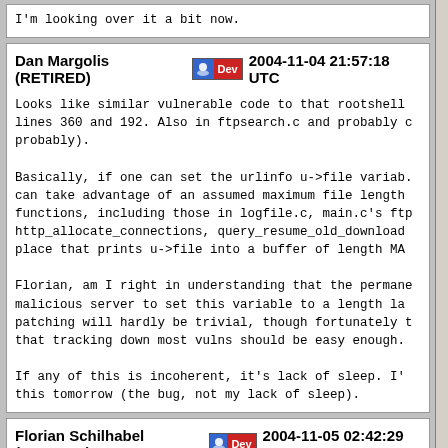I'm looking over it a bit now.
Dan Margolis (RETIRED)  2004-11-04 21:57:18 UTC
Looks like similar vulnerable code to that rootshell lines 360 and 192. Also in ftpsearch.c and probably probably).

Basically, if one can set the urlinfo u->file variab can take advantage of an assumed maximum file length functions, including those in logfile.c, main.c's ft http_allocate_connections, query_resume_old_download place that prints u->file into a buffer of length MA

Florian, am I right in understanding that the permane malicious server to set this variable to a length la patching will hardly be trivial, though fortunately that tracking down most vulns should be easy enough.

If any of this is incoherent, it's lack of sleep. I' this tomorrow (the bug, not my lack of sleep).
Florian Schilhabel (RETIRED)  2004-11-05 02:42:29 UTC
hi,
yes, you are right
the function to build the actual request is called f (commandline overflow)